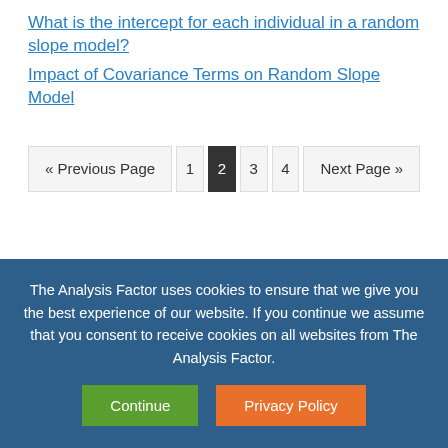What is the intercept for each individual in a random slope model?
Impact of Covariance Terms on Random Slope Model
« Previous Page  1  2  3  4  Next Page »
The Analysis Factor uses cookies to ensure that we give you the best experience of our website. If you continue we assume that you consent to receive cookies on all websites from The Analysis Factor.
Continue  Privacy Policy